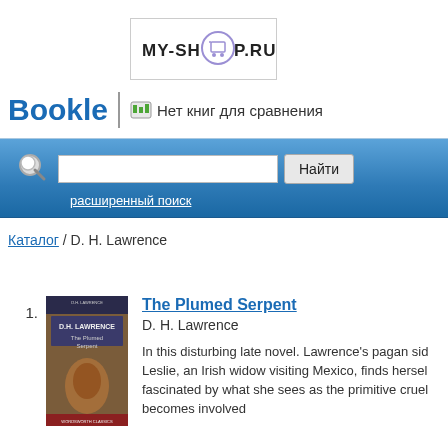[Figure (logo): MY-SHOP.RU logo with shopping cart icon in a rectangle]
Bookle
Нет книг для сравнения
[Figure (screenshot): Search bar with magnifying glass icon, text input, and Найти button; расширенный поиск link below]
Каталог / D. H. Lawrence
1.
[Figure (illustration): Book cover of The Plumed Serpent by D.H. Lawrence]
The Plumed Serpent
D. H. Lawrence
In this disturbing late novel. Lawrence's pagan sid Leslie, an Irish widow visiting Mexico, finds hersel fascinated by what she sees as the primitive cruel becomes involved